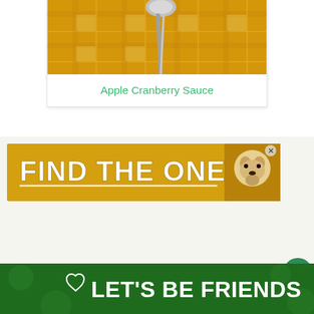[Figure (photo): Close-up photo of a silver spoon on a yellow/gold plaid textile background, part of an Apple Cranberry Sauce recipe card]
Apple Cranberry Sauce
[Figure (other): Advertisement banner with golden/yellow background showing a dog and bold white text reading FIND THE ONE with a close X button]
[Figure (other): Bottom banner advertisement with dark green background showing a husky dog image and bold white text reading LET'S BE FRIENDS with a heart icon and X close button, plus a small Wealthsimple-style logo on the right]